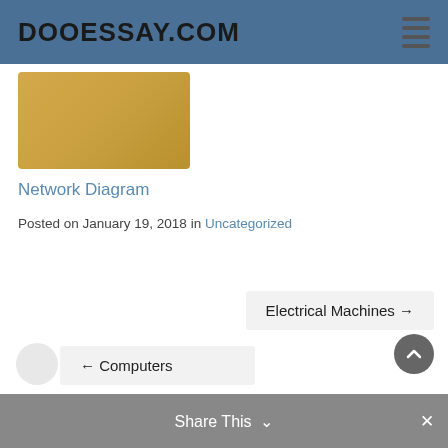DOOESSAY.COM
[Figure (illustration): Gold/tan colored rectangular thumbnail image placeholder]
Network Diagram
Posted on January 19, 2018 in Uncategorized
Electrical Machines →
← Computers
Share This ∨